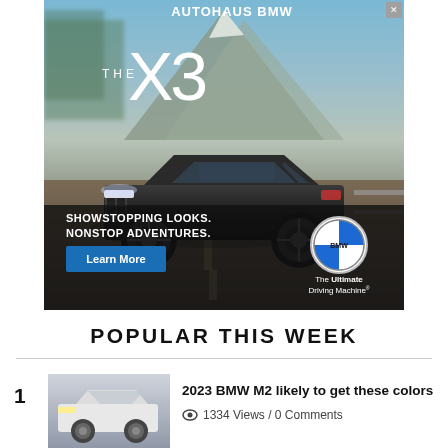[Figure (photo): BMW X3 advertisement from Autohaus BMW. Shows a black BMW X3 SUV driving on a road with mountains in background. Text reads 'THE X3', 'SHOWSTOPPING LOOKS. NONSTOP ADVENTURES.' with a 'Learn More' button. BMW logo and 'The Ultimate Driving Machine' tagline visible.]
POPULAR THIS WEEK
[Figure (photo): Thumbnail image of a white BMW M2 sports car]
1  2023 BMW M2 likely to get these colors
1334 Views / 0 Comments